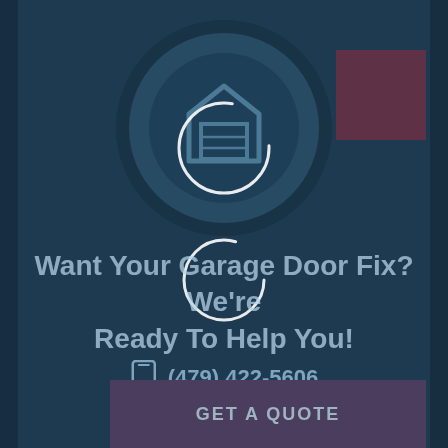[Figure (logo): Circular logo with a house/garage door icon in the center, overlaid with a loading spinner circle (white circle outline, partially complete). A red-purple square is visible in the upper right area.]
Want Your Garage Door Fix? We're Ready To Help You!
(479) 422-5606
GET A QUOTE